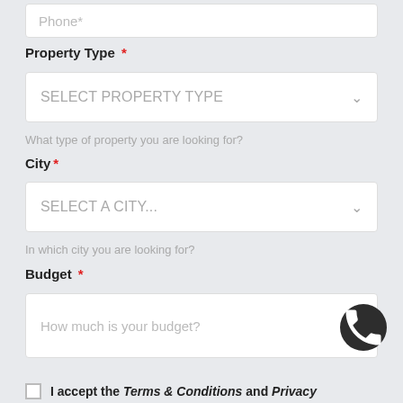Phone*
Property Type *
SELECT PROPERTY TYPE
What type of property you are looking for?
City*
SELECT A CITY...
In which city you are looking for?
Budget *
How much is your budget?
I accept the Terms & Conditions and Privacy